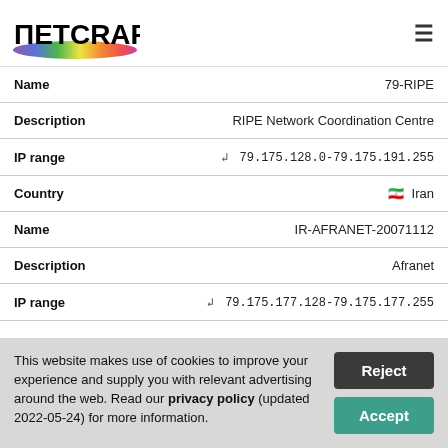Netcraft
| Field | Value |
| --- | --- |
| Name | 79-RIPE |
| Description | RIPE Network Coordination Centre |
| IP range | 79.175.128.0-79.175.191.255 |
| Country | Iran |
| Name | IR-AFRANET-20071112 |
| Description | Afranet |
| IP range | 79.175.177.128-79.175.177.255 |
This website makes use of cookies to improve your experience and supply you with relevant advertising around the web. Read our privacy policy (updated 2022-05-24) for more information.